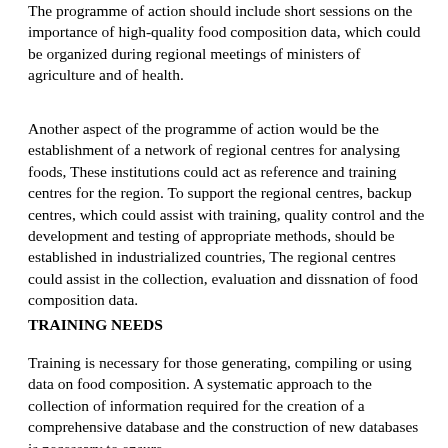The programme of action should include short sessions on the importance of high-quality food composition data, which could be organized during regional meetings of ministers of agriculture and of health.
Another aspect of the programme of action would be the establishment of a network of regional centres for analysing foods, These institutions could act as reference and training centres for the region. To support the regional centres, backup centres, which could assist with training, quality control and the development and testing of appropriate methods, should be established in industrialized countries, The regional centres could assist in the collection, evaluation and dissnation of food composition data.
TRAINING NEEDS
Training is necessary for those generating, compiling or using data on food composition. A systematic approach to the collection of information required for the creation of a comprehensive database and the construction of new databases is necessary to ensure